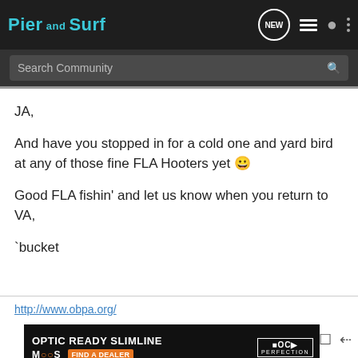Pier and Surf
Search Community
JA,

And have you stopped in for a cold one and yard bird at any of those fine FLA Hooters yet 😁

Good FLA fishin' and let us know when you return to VA,

`bucket
http://www.obpa.org/
[Figure (infographic): Glock advertisement banner: OPTIC READY SLIMLINE, MOS logo, FIND A DEALER button, Glock Perfection badge, with handgun imagery]